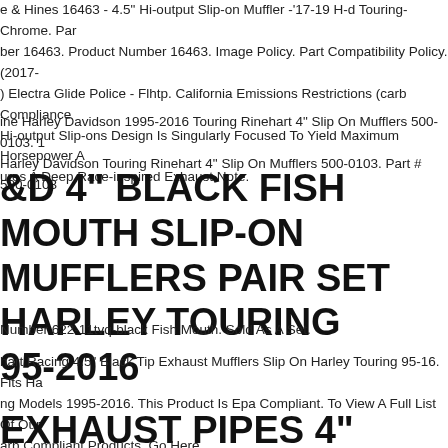e & Hines 16463 - 4.5" Hi-output Slip-on Muffler -'17-19 H-d Touring- Chrome. Par ber 16463. Product Number 16463. Image Policy. Part Compatibility Policy. (2017- ) Electra Glide Police - Flhtp. California Emissions Restrictions (carb Compliance Hi-output Slip-ons Design Is Singularly Focused To Yield Maximum Horsepower A ures A Deep Race-inspired Exhaust Note.
ine Harley Davidson 1995-2016 Touring Rinehart 4" Slip On Mufflers 500-0103. 1 Harley Davidson Touring Rinehart 4" Slip On Mufflers 500-0103. Part # 500-0103
&D 4" BLACK FISH MOUTH SLIP-ON MUFFLERS PAIR SET HARLEY TOURING 95-2016
Number 622-11tvq-black Fish Mouth. Sold As A Set.
hart Racing 4.5" Black Tip Exhaust Mufflers Slip On Harley Touring 95-16. Fits Ha ng Models 1995-2016. This Product Is Epa Compliant. To View A Full List Of Our arb Compliant Products, Go Here.
EXHAUST PIPES 4" SLIP-ON MUFFLERS